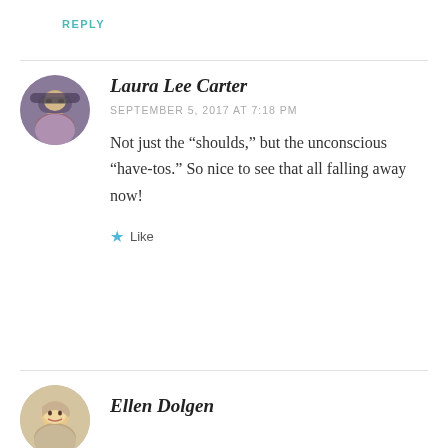REPLY
Laura Lee Carter
SEPTEMBER 5, 2017 AT 7:18 PM
Not just the “shoulds,” but the unconscious “have-tos.” So nice to see that all falling away now!
Like
[Figure (photo): Circular avatar photo of Laura Lee Carter, woman with sunglasses outdoors]
Ellen Dolgen
[Figure (photo): Circular avatar photo of Ellen Dolgen, woman with blonde bob haircut]